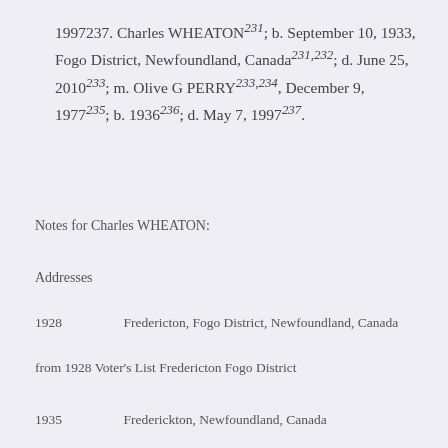1997237. Charles WHEATON231; b. September 10, 1933, Fogo District, Newfoundland, Canada231,232; d. June 25, 2010233; m. Olive G PERRY233,234, December 9, 1977235; b. 1936236; d. May 7, 1997237.
Notes for Charles WHEATON:
Addresses
1928   Fredericton, Fogo District, Newfoundland, Canada
from 1928 Voter's List Fredericton Fogo District
1935   Frederickton, Newfoundland, Canada